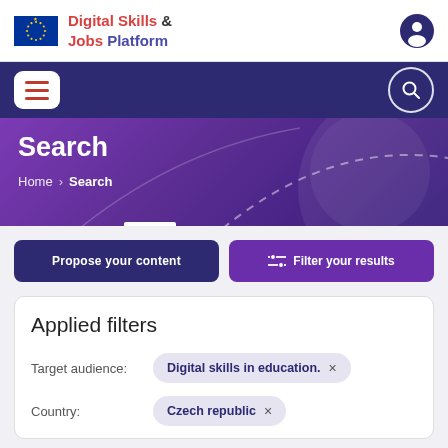[Figure (logo): EU flag and Digital Skills & Jobs Platform logo in top white header bar]
[Figure (screenshot): Navigation bar with hamburger menu and search icon on dark blue background]
Search
Home › Search
Propose your content
Filter your results
Applied filters
Target audience:
Digital skills in education. ×
Country:
Czech republic ×